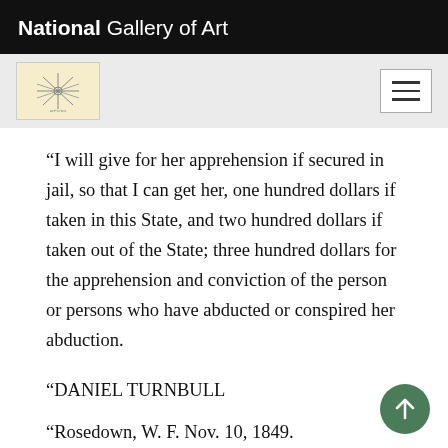National Gallery of Art
“I will give for her apprehension if secured in jail, so that I can get her, one hundred dollars if taken in this State, and two hundred dollars if taken out of the State; three hundred dollars for the apprehension and conviction of the person or persons who have abducted or conspired her abduction.
“DANIEL TURNBULL
“Rosedown, W. F. Nov. 10, 1849.